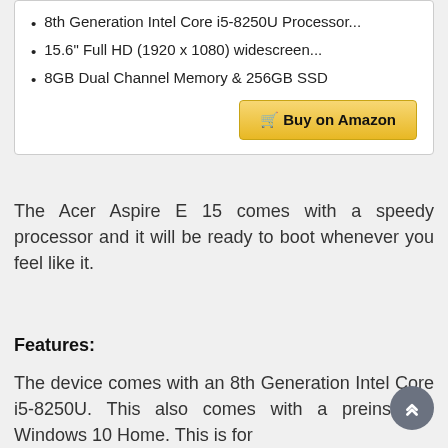8th Generation Intel Core i5-8250U Processor...
15.6" Full HD (1920 x 1080) widescreen...
8GB Dual Channel Memory & 256GB SSD
Buy on Amazon
The Acer Aspire E 15 comes with a speedy processor and it will be ready to boot whenever you feel like it.
Features:
The device comes with an 8th Generation Intel Core i5-8250U. This also comes with a preinstalled Windows 10 Home. This is for